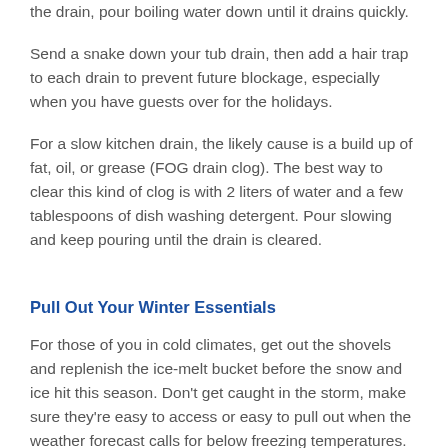the drain, pour boiling water down until it drains quickly.
Send a snake down your tub drain, then add a hair trap to each drain to prevent future blockage, especially when you have guests over for the holidays.
For a slow kitchen drain, the likely cause is a build up of fat, oil, or grease (FOG drain clog). The best way to clear this kind of clog is with 2 liters of water and a few tablespoons of dish washing detergent. Pour slowing and keep pouring until the drain is cleared.
Pull Out Your Winter Essentials
For those of you in cold climates, get out the shovels and replenish the ice-melt bucket before the snow and ice hit this season. Don't get caught in the storm, make sure they're easy to access or easy to pull out when the weather forecast calls for below freezing temperatures.